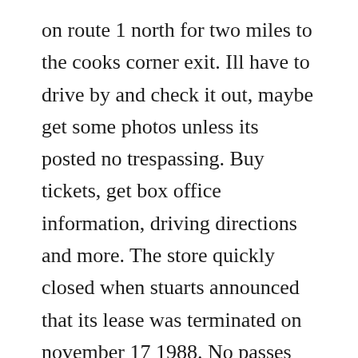on route 1 north for two miles to the cooks corner exit. Ill have to drive by and check it out, maybe get some photos unless its posted no trespassing. Buy tickets, get box office information, driving directions and more. The store quickly closed when stuarts announced that its lease was terminated on november 17 1988. No passes indicates that there are no discounts, promotional passes or complimentary passes accepted due to. Katz properties, the new owner of cooks corner in brunswick. View the best local computer stores and learn about custom printing